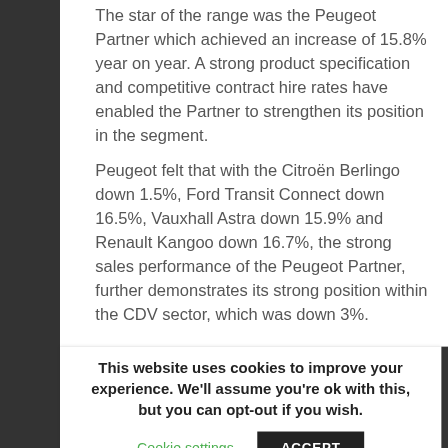The star of the range was the Peugeot Partner which achieved an increase of 15.8% year on year. A strong product specification and competitive contract hire rates have enabled the Partner to strengthen its position in the segment.
Peugeot felt that with the Citroën Berlingo down 1.5%, Ford Transit Connect down 16.5%, Vauxhall Astra down 15.9% and Renault Kangoo down 16.7%, the strong sales performance of the Peugeot Partner, further demonstrates its strong position within the CDV sector, which was down 3%.
This website uses cookies to improve your experience. We'll assume you're ok with this, but you can opt-out if you wish.
Cookie settings   ACCEPT